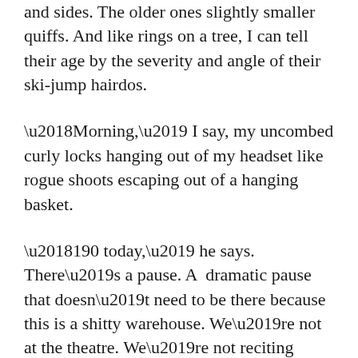and sides. The older ones slightly smaller quiffs. And like rings on a tree, I can tell their age by the severity and angle of their ski-jump hairdos.
‘Morning,’ I say, my uncombed curly locks hanging out of my headset like rogue shoots escaping out of a hanging basket.
‘190 today,’ he says. There’s a pause. A  dramatic pause that doesn’t need to be there because this is a shitty warehouse. We’re not at the theatre. We’re not reciting Pinter. But I know what he’s doing. He’s waiting